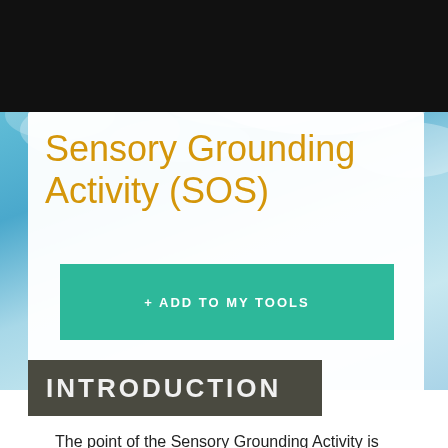START 2 HEAL
Sensory Grounding Activity (SOS)
+ ADD TO MY TOOLS
INTRODUCTION
The point of the Sensory Grounding Activity is to shift one’s attention to the present moment. This is achieved by